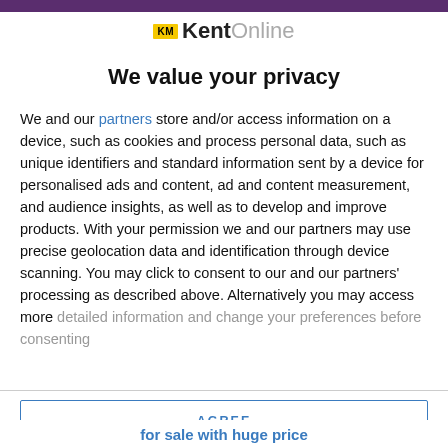[Figure (logo): KM KentOnline logo with yellow KM badge and grey 'Online' text]
We value your privacy
We and our partners store and/or access information on a device, such as cookies and process personal data, such as unique identifiers and standard information sent by a device for personalised ads and content, ad and content measurement, and audience insights, as well as to develop and improve products. With your permission we and our partners may use precise geolocation data and identification through device scanning. You may click to consent to our and our partners' processing as described above. Alternatively you may access more detailed information and change your preferences before consenting
AGREE
MORE OPTIONS
for sale with huge price